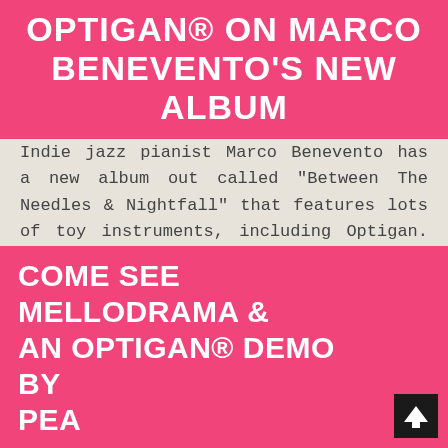OPTIGAN® ON MARCO BENEVENTO'S NEW ALBUM
Indie jazz pianist Marco Benevento has a new album out called “Between The Needles & Nightfall” that features lots of toy instruments, including Optigan. Really nice instrumentals with wild arrang
CONTINUE READING
by webmaster  09 Sep  Sightings  43
COME SEE MELLODRAMA & AN OPTIGAN® DEMO BY PEA